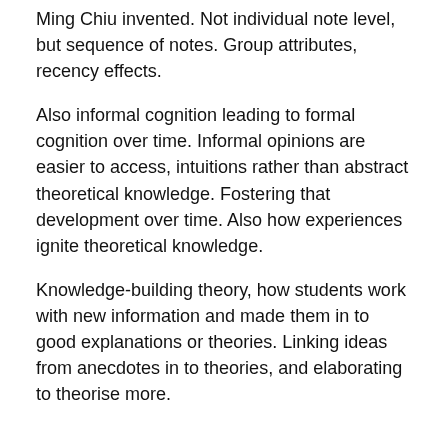Ming Chiu invented. Not individual note level, but sequence of notes. Group attributes, recency effects.
Also informal cognition leading to formal cognition over time. Informal opinions are easier to access, intuitions rather than abstract theoretical knowledge. Fostering that development over time. Also how experiences ignite theoretical knowledge.
Knowledge-building theory, how students work with new information and made them in to good explanations or theories. Linking ideas from anecdotes in to theories, and elaborating to theorise more.